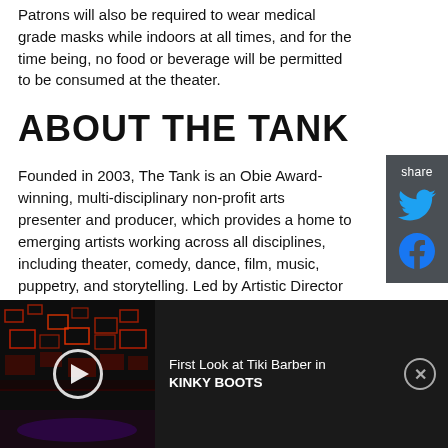Patrons will also be required to wear medical grade masks while indoors at all times, and for the time being, no food or beverage will be permitted to be consumed at the theater.
ABOUT THE TANK
Founded in 2003, The Tank is an Obie Award-winning, multi-disciplinary non-profit arts presenter and producer, which provides a home to emerging artists working across all disciplines, including theater, comedy, dance, film, music, puppetry, and storytelling. Led by Artistic Director Meghan Finn, Managing Producer Molly FitzMaurice and Director of
[Figure (other): Share sidebar with Twitter and Facebook icons on dark grey background]
[Figure (screenshot): Ad banner at bottom: video thumbnail of stage set with red geometric lighting for Kinky Boots, play button overlay, text 'First Look at Tiki Barber in KINKY BOOTS', close button]